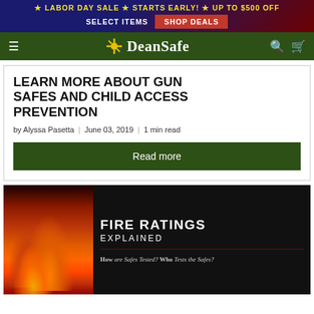★ LABOR DAY SALE ★ STARTS EARLY! ★ UP TO $500 OFF SELECT ITEMS  SHOP DEALS
DeanSafe
LEARN MORE ABOUT GUN SAFES AND CHILD ACCESS PREVENTION
by Alyssa Pasetta | June 03, 2019 | 1 min read
Read more
[Figure (photo): Fire Ratings Explained infographic with flames on left and text on right: FIRE RATINGS EXPLAINED. How are Safes Tested? Who Tests the Safes?]